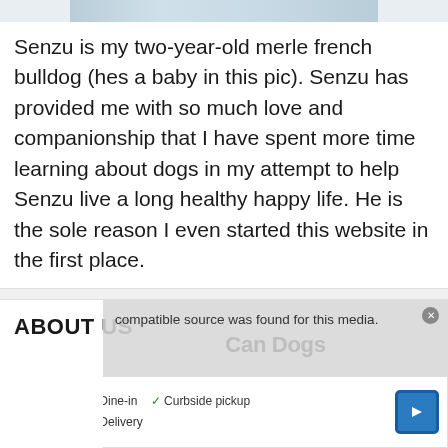[Figure (photo): Partial top strip of a dog photo, likely a merle french bulldog, cropped at top of page]
Senzu is my two-year-old merle french bulldog (hes a baby in this pic). Senzu has provided me with so much love and companionship that I have spent more time learning about dogs in my attempt to help Senzu live a long healthy happy life. He is the sole reason I even started this website in the first place.
ABOUT US
[Figure (screenshot): Video player overlay showing 'No compatible source was found for this media.' with watermark text 'Can Dogs' partially visible beneath ad banner for Smoothie King showing Dine-in, Curbside pickup, and Delivery options with navigation arrow icon]